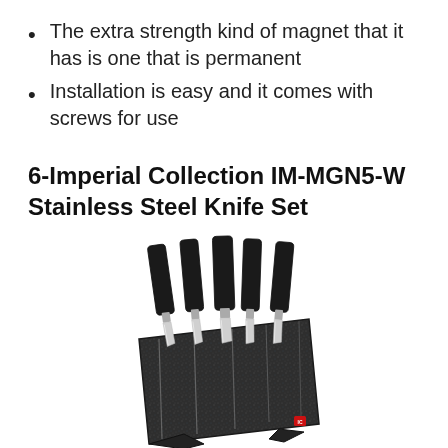The extra strength kind of magnet that it has is one that is permanent
Installation is easy and it comes with screws for use
6-Imperial Collection IM-MGN5-W Stainless Steel Knife Set
[Figure (photo): Photo of a 6-piece stainless steel knife set in a dark granite-textured magnetic knife block. Five knives with black handles are displayed in the block, with silver blades visible. A small red logo is at the bottom right of the block.]